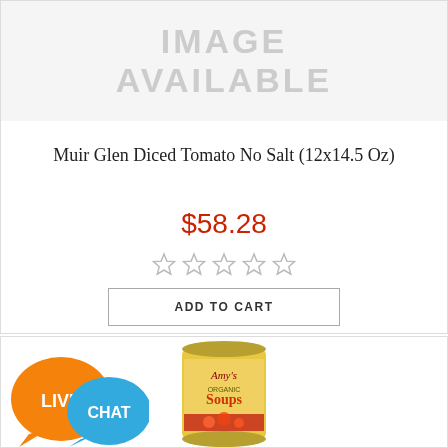[Figure (other): No image available placeholder with large grey text reading IMAGE AVAILABLE]
Muir Glen Diced Tomato No Salt (12x14.5 Oz)
$58.28
[Figure (other): Five empty/hollow star rating icons in grey]
ADD TO CART
[Figure (other): Live Chat speech bubble badge (orange and blue) and Amy's Organic Soups can product image]
[Figure (photo): Amy's Organic Soups can product image, yellow can with tomato soup visible]